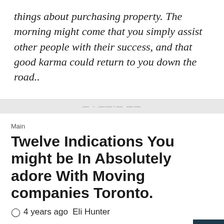things about purchasing property. The morning might come that you simply assist other people with their success, and that good karma could return to you down the road..
Main
Twelve Indications You might be In Absolutely adore With Moving companies Toronto.
4 years ago  Eli Hunter
You Are Certain To Benefit By Reading The Following Tips